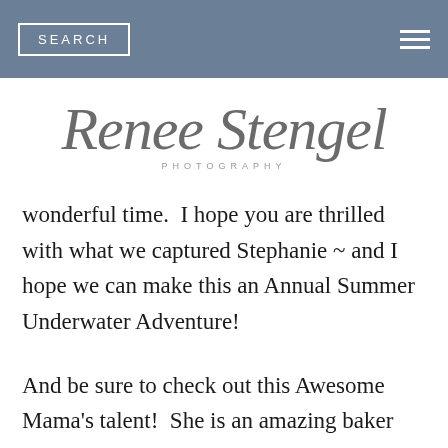SEARCH
[Figure (logo): Renee Stengel Photography cursive script logo with 'PHOTOGRAPHY' in small caps below]
wonderful time.  I hope you are thrilled with what we captured Stephanie ~ and I hope we can make this an Annual Summer Underwater Adventure!
And be sure to check out this Awesome Mama's talent!  She is an amazing baker and runs a shop called Flour Fog Bakery ~  or you can find her on Insta here!  I really think I am going to have to